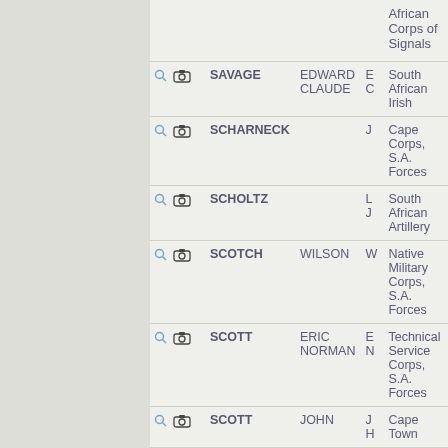| Icons | Surname | First Name | Initials | Regiment |
| --- | --- | --- | --- | --- |
|  |  |  |  | African Corps of Signals |
| 🔍 📷 | SAVAGE | EDWARD CLAUDE | E C | South African Irish |
| 🔍 📷 | SCHARNECK |  | J | Cape Corps, S.A. Forces |
| 🔍 📷 | SCHOLTZ |  | L J | South African Artillery |
| 🔍 📷 | SCOTCH | WILSON | W | Native Military Corps, S.A. Forces |
| 🔍 📷 | SCOTT | ERIC NORMAN | E N | Technical Service Corps, S.A. Forces |
| 🔍 📷 | SCOTT | JOHN | J H | Cape Town |